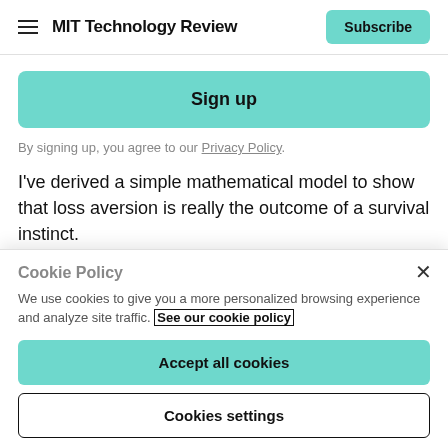MIT Technology Review
Sign up
By signing up, you agree to our Privacy Policy.
I've derived a simple mathematical model to show that loss aversion is really the outcome of a survival instinct.
Cookie Policy
We use cookies to give you a more personalized browsing experience and analyze site traffic. See our cookie policy
Accept all cookies
Cookies settings